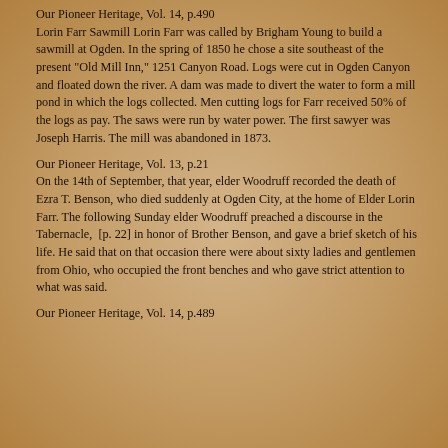Our Pioneer Heritage, Vol. 14, p.490
Lorin Farr Sawmill Lorin Farr was called by Brigham Young to build a sawmill at Ogden. In the spring of 1850 he chose a site southeast of the present "Old Mill Inn," 1251 Canyon Road. Logs were cut in Ogden Canyon and floated down the river. A dam was made to divert the water to form a mill pond in which the logs collected. Men cutting logs for Farr received 50% of the logs as pay. The saws were run by water power. The first sawyer was Joseph Harris. The mill was abandoned in 1873.
Our Pioneer Heritage, Vol. 13, p.21
On the 14th of September, that year, elder Woodruff recorded the death of Ezra T. Benson, who died suddenly at Ogden City, at the home of Elder Lorin Farr. The following Sunday elder Woodruff preached a discourse in the Tabernacle, [p. 22] in honor of Brother Benson, and gave a brief sketch of his life. He said that on that occasion there were about sixty ladies and gentlemen from Ohio, who occupied the front benches and who gave strict attention to what was said.
Our Pioneer Heritage, Vol. 14, p.489